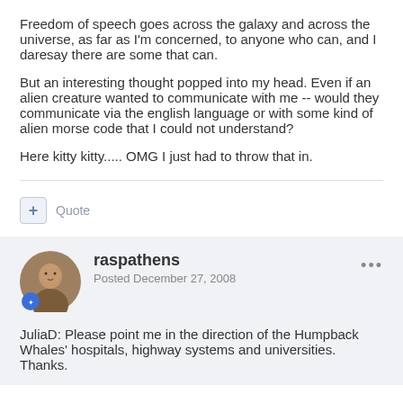Freedom of speech goes across the galaxy and across the universe, as far as I'm concerned, to anyone who can, and I daresay there are some that can.
But an interesting thought popped into my head. Even if an alien creature wanted to communicate with me -- would they communicate via the english language or with some kind of alien morse code that I could not understand?
Here kitty kitty..... OMG I just had to throw that in.
+ Quote
raspathens
Posted December 27, 2008
JuliaD: Please point me in the direction of the Humpback Whales' hospitals, highway systems and universities. Thanks.